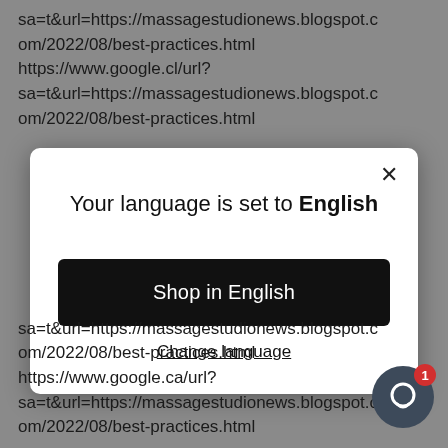sa=t&url=https://massagestudionews.blogspot.com/2022/08/best-practices.html https://www.google.cl/url? sa=t&url=https://massagestudionews.blogspot.com/2022/08/best-practices.html
[Figure (screenshot): Modal dialog with title 'Your language is set to English', a black 'Shop in English' button, and a 'Change language' text link. Has a close X button in top-right corner.]
sa=t&url=https://massagestudionews.blogspot.com/2022/08/best-practices.html https://www.google.ca/url? sa=t&url=https://massagestudionews.blogspot.com/2022/08/best-practices.html